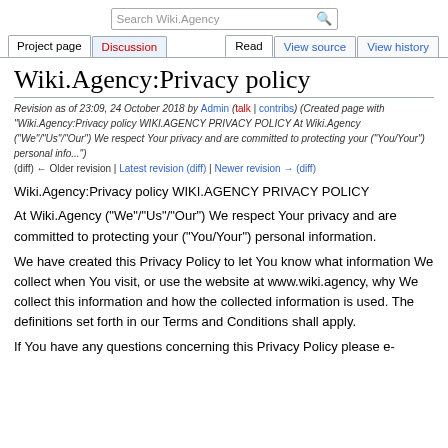Search Wiki.Agency
Project page | Discussion | Read | View source | View history
Wiki.Agency:Privacy policy
Revision as of 23:09, 24 October 2018 by Admin (talk | contribs) (Created page with "Wiki.Agency:Privacy policy WIKI.AGENCY PRIVACY POLICY At Wiki.Agency ("We"/"Us"/"Our") We respect Your privacy and are committed to protecting your ("You/Your") personal info...")
(diff) ← Older revision | Latest revision (diff) | Newer revision → (diff)
Wiki.Agency:Privacy policy WIKI.AGENCY PRIVACY POLICY
At Wiki.Agency ("We"/"Us"/"Our") We respect Your privacy and are committed to protecting your ("You/Your") personal information.
We have created this Privacy Policy to let You know what information We collect when You visit, or use the website at www.wiki.agency, why We collect this information and how the collected information is used. The definitions set forth in our Terms and Conditions shall apply.
If You have any questions concerning this Privacy Policy please e-